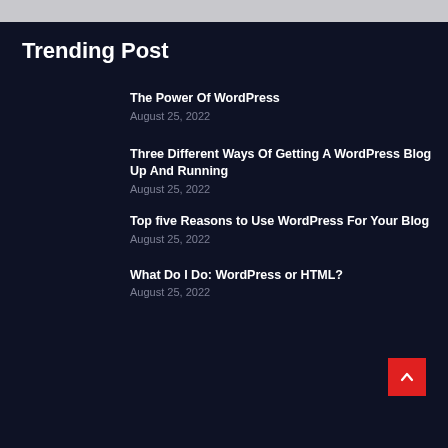Trending Post
The Power Of WordPress
August 25, 2022
Three Different Ways Of Getting A WordPress Blog Up And Running
August 25, 2022
Top five Reasons to Use WordPress For Your Blog
August 25, 2022
What Do I Do: WordPress or HTML?
August 25, 2022